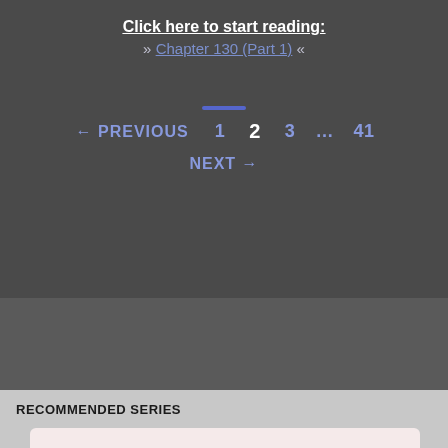Click here to start reading:
» Chapter 130 (Part 1) «
← PREVIOUS   1   2   3   ...   41
NEXT →
RECOMMENDED SERIES